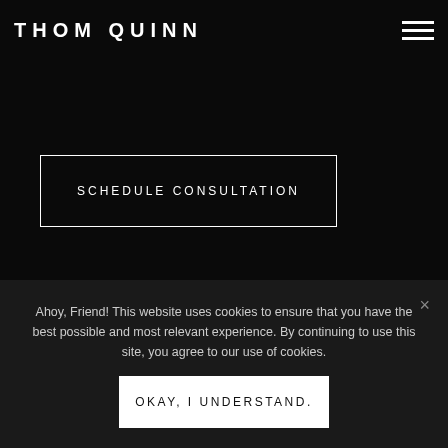THOM QUINN
SCHEDULE CONSULTATION
Copyright © 2022 Thom Quinn. All rights reserved.
Ahoy, Friend! This website uses cookies to ensure that you have the best possible and most relevant experience. By continuing to use this site, you agree to our use of cookies.
OKAY, I UNDERSTAND.